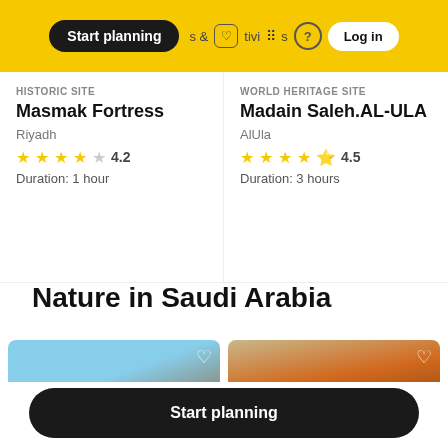Start planning | &tivities | ? | Log in
HISTORIC SITE
Masmak Fortress
Riyadh
★★★★☆ 4.2
Duration: 1 hour
WORLD HERITAGE SITE
Madain Saleh.AL-ULA
AlUla
★★★★½ 4.5
Duration: 3 hours
Nature in Saudi Arabia
[Figure (photo): Photo of rocky landscape against blue sky]
[Figure (photo): Photo of orange/brown terrain with sky]
Start planning